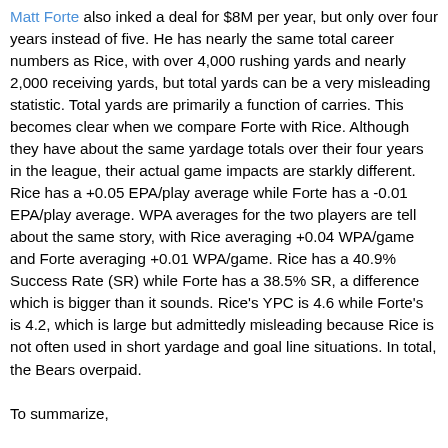Matt Forte also inked a deal for $8M per year, but only over four years instead of five. He has nearly the same total career numbers as Rice, with over 4,000 rushing yards and nearly 2,000 receiving yards, but total yards can be a very misleading statistic. Total yards are primarily a function of carries. This becomes clear when we compare Forte with Rice. Although they have about the same yardage totals over their four years in the league, their actual game impacts are starkly different. Rice has a +0.05 EPA/play average while Forte has a -0.01 EPA/play average. WPA averages for the two players are tell about the same story, with Rice averaging +0.04 WPA/game and Forte averaging +0.01 WPA/game. Rice has a 40.9% Success Rate (SR) while Forte has a 38.5% SR, a difference which is bigger than it sounds. Rice's YPC is 4.6 while Forte's is 4.2, which is large but admittedly misleading because Rice is not often used in short yardage and goal line situations. In total, the Bears overpaid.
To summarize,
Brees: Endorsed
Rice: Endorsed